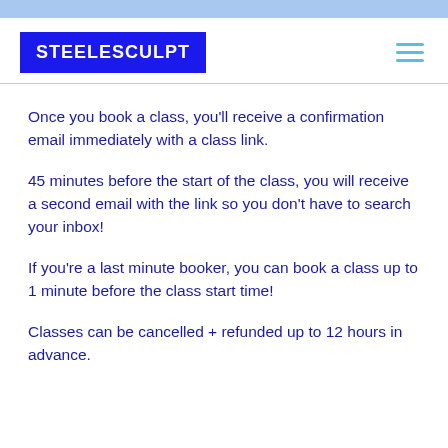STEELESCULPT
Once you book a class, you'll receive a confirmation email immediately with a class link.
45 minutes before the start of the class, you will receive a second email with the link so you don't have to search your inbox!
If you're a last minute booker, you can book a class up to 1 minute before the class start time!
Classes can be cancelled + refunded up to 12 hours in advance.